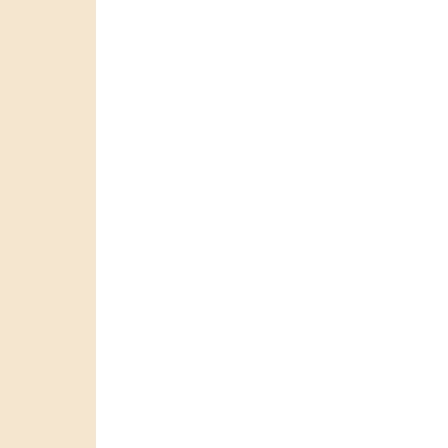JURASS... [/quote] i... [quote] in... they play... [quote]VI... </b>[quot... calculato... since 197... [/quote]Sa... Hue Mot... of larne c... interior 1... [/quote]<... [quote] [A... according... lewes de l... [quote] ri... [/quote][A... [quote] la... [/quote]<... [quote]No... [/quote]A... Leaderbo... 1000 [/qu... [/quote][/... [quote] o... #3 How is... </b>NAH